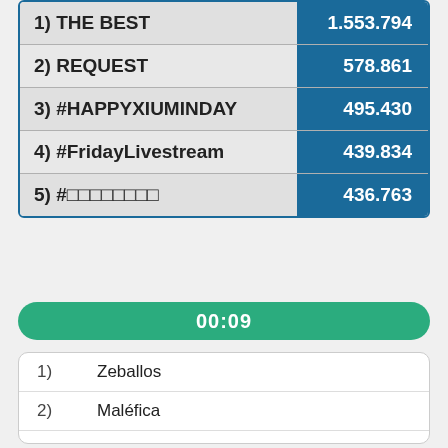| Rank/Label | Value |
| --- | --- |
| 1) THE BEST | 1.553.794 |
| 2) REQUEST | 578.861 |
| 3) #HAPPYXIUMINDAY | 495.430 |
| 4) #FridayLivestream | 439.834 |
| 5) #□□□□□□□□ | 436.763 |
00:09
1)   Zeballos
2)   Maléfica
3)   Varela
4)   Soldano